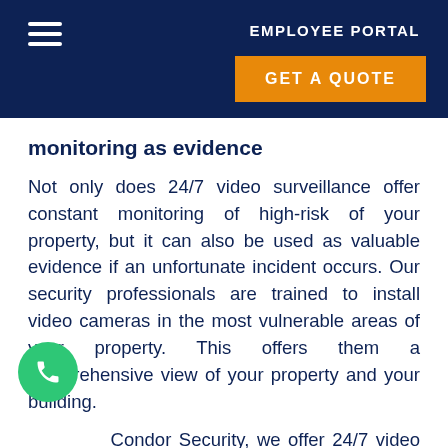EMPLOYEE PORTAL
GET A QUOTE
monitoring as evidence
Not only does 24/7 video surveillance offer constant monitoring of high-risk of your property, but it can also be used as valuable evidence if an unfortunate incident occurs. Our security professionals are trained to install video cameras in the most vulnerable areas of your property. This offers them a comprehensive view of your property and your building.
Condor Security, we offer 24/7 video surveillance services, so a security professional can be monitoring and